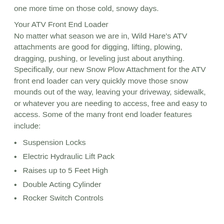one more time on those cold, snowy days.
Your ATV Front End Loader
No matter what season we are in, Wild Hare's ATV attachments are good for digging, lifting, plowing, dragging, pushing, or leveling just about anything. Specifically, our new Snow Plow Attachment for the ATV front end loader can very quickly move those snow mounds out of the way, leaving your driveway, sidewalk, or whatever you are needing to access, free and easy to access. Some of the many front end loader features include:
Suspension Locks
Electric Hydraulic Lift Pack
Raises up to 5 Feet High
Double Acting Cylinder
Rocker Switch Controls